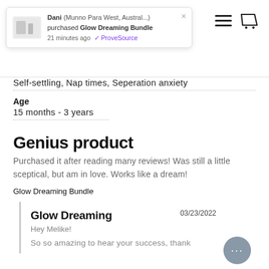[Figure (infographic): ProveSource notification popup: Dani (Munno Para West, Austral...) purchased Glow Dreaming Bundle 21 minutes ago]
Self-settling, Nap times, Seperation anxiety
Age
15 months - 3 years
Genius product
Purchased it after reading many reviews! Was still a little sceptical, but am in love. Works like a dream!
Glow Dreaming Bundle
Glow Dreaming
03/23/2022
Hey Melike!
So so amazing to hear your success, thank